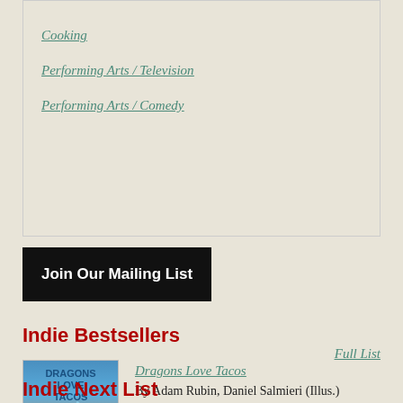Cooking
Performing Arts / Television
Performing Arts / Comedy
Join Our Mailing List
Indie Bestsellers
[Figure (photo): Book cover of Dragons Love Tacos]
Dragons Love Tacos
By Adam Rubin, Daniel Salmieri (Illus.)
Full List
Indie Next List